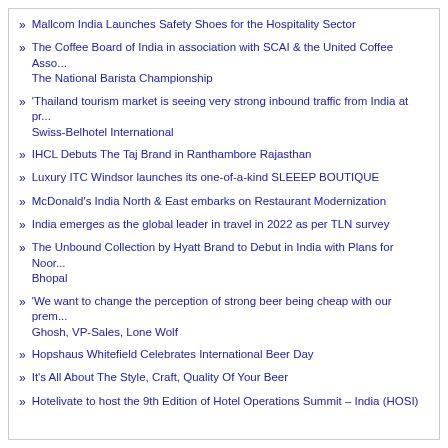Mallcom India Launches Safety Shoes for the Hospitality Sector
The Coffee Board of India in association with SCAI & the United Coffee Asso... The National Barista Championship
'Thailand tourism market is seeing very strong inbound traffic from India at pr... Swiss-Belhotel International
IHCL Debuts The Taj Brand in Ranthambore Rajasthan
Luxury ITC Windsor launches its one-of-a-kind SLEEEP BOUTIQUE
McDonald's India North & East embarks on Restaurant Modernization
India emerges as the global leader in travel in 2022 as per TLN survey
The Unbound Collection by Hyatt Brand to Debut in India with Plans for Noor... Bhopal
'We want to change the perception of strong beer being cheap with our prem... Ghosh, VP-Sales, Lone Wolf
Hopshaus Whitefield Celebrates International Beer Day
It's All About The Style, Craft, Quality Of Your Beer
Hotelivate to host the 9th Edition of Hotel Operations Summit – India (HOSI)